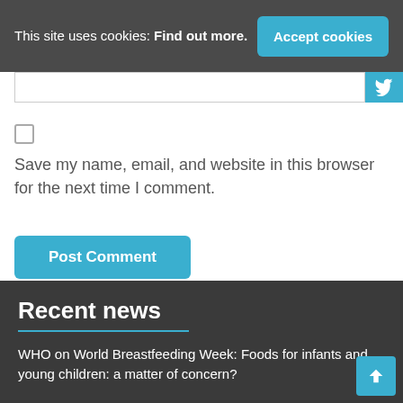This site uses cookies: Find out more.
Accept cookies
Save my name, email, and website in this browser for the next time I comment.
Post Comment
Recent news
WHO on World Breastfeeding Week: Foods for infants and young children: a matter of concern?